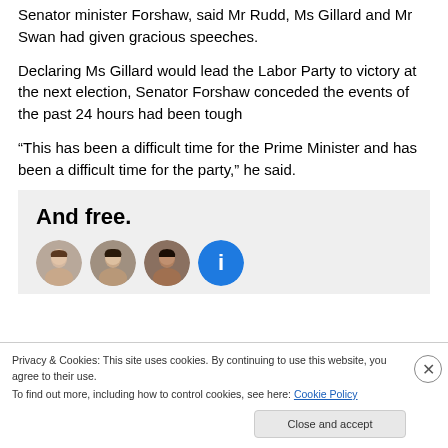Senator minister Forshaw, said Mr Rudd, Ms Gillard and Mr Swan had given gracious speeches.
Declaring Ms Gillard would lead the Labor Party to victory at the next election, Senator Forshaw conceded the events of the past 24 hours had been tough
“This has been a difficult time for the Prime Minister and has been a difficult time for the party,” he said.
[Figure (other): Advertisement banner with bold text 'And free.' and circular avatar images of people below it on a grey background.]
Privacy & Cookies: This site uses cookies. By continuing to use this website, you agree to their use.
To find out more, including how to control cookies, see here: Cookie Policy